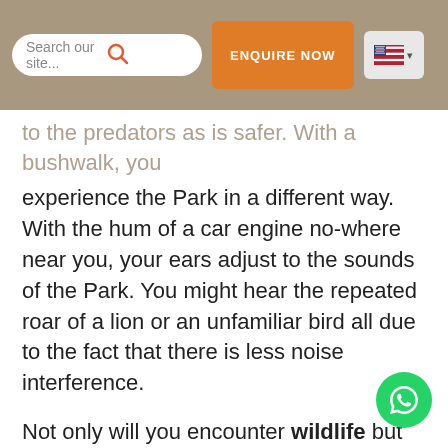Search our site... | ENQUIRE NOW | [US flag]
to the predators as is safer. With a bushwalk, you experience the Park in a different way. With the hum of a car engine no-where near you, your ears adjust to the sounds of the Park. You might hear the repeated roar of a lion or an unfamiliar bird all due to the fact that there is less noise interference.
Not only will you encounter wildlife but you will also stumble across the remains of human settlements and even human graves, a remnant of the times when people still lived off the land here at the beginning of the 20th century.